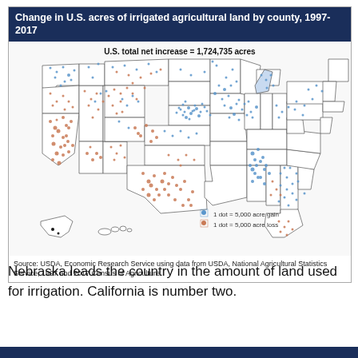[Figure (map): Dot density map of the contiguous United States (plus Alaska and Hawaii insets) showing change in irrigated agricultural land by county from 1997 to 2017. Blue dots represent 5,000 acre gains; orange/red dots represent 5,000 acre losses. Notable blue dot concentrations in Nebraska, Mississippi River delta, and parts of the Southeast. Notable orange dot concentrations in California, Texas, Colorado, and Kansas. Text annotation: U.S. total net increase = 1,724,735 acres.]
Source: USDA, Economic Research Service using data from USDA, National Agricultural Statistics Service, 1997 and 2017 Census of Agriculture.
Nebraska leads the country in the amount of land used for irrigation. California is number two.